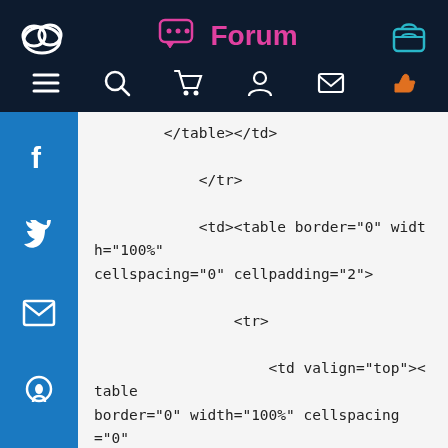Forum
</table></td>

            </tr>

            <td><table border="0" width="100%" cellspacing="0" cellpadding="2">

                <tr>

                    <td valign="top"><table border="0" width="100%" cellspacing="0" cellpadding="2">

                        <tr class="dataTableHeadingRow">

                            <td